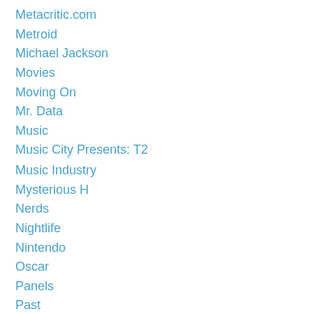Metacritic.com
Metroid
Michael Jackson
Movies
Moving On
Mr. Data
Music
Music City Presents: T2
Music Industry
Mysterious H
Nerds
Nightlife
Nintendo
Oscar
Panels
Past
Paths
Patrick Cunningham
Perseverance
Persistence
Pete Fonlan